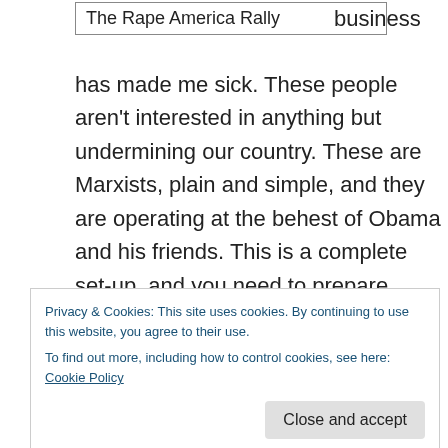The Rape America Rally
business has made me sick.  These people aren't interested in anything but undermining our country.   These are Marxists, plain and simple, and they are operating at the behest of Obama and his friends.  This is a complete set-up, and you need to prepare yourself for the revolution these people desire.  It's time to prepare ourselves for what is coming.  The leftists are actually planning a revolution, and this is the build-up.  Let's be honest:  We will not survive this if we don't permit ourselves to see what these people intend.  Here are their absurd
Privacy & Cookies: This site uses cookies. By continuing to use this website, you agree to their use.
To find out more, including how to control cookies, see here: Cookie Policy
imposing trade tariffs on all imported goods entering